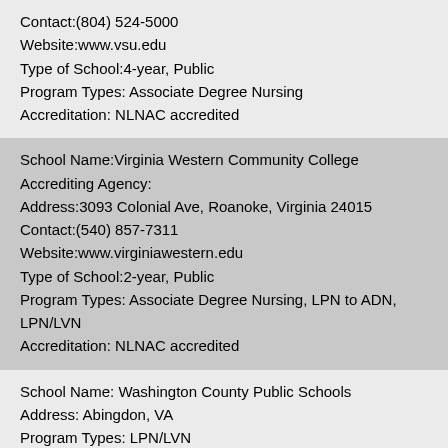Contact:(804) 524-5000
Website:www.vsu.edu
Type of School:4-year, Public
Program Types: Associate Degree Nursing
Accreditation: NLNAC accredited
School Name:Virginia Western Community College
Accrediting Agency:
Address:3093 Colonial Ave, Roanoke, Virginia 24015
Contact:(540) 857-7311
Website:www.virginiawestern.edu
Type of School:2-year, Public
Program Types: Associate Degree Nursing, LPN to ADN, LPN/LVN
Accreditation: NLNAC accredited
School Name: Washington County Public Schools
Address: Abingdon, VA
Program Types: LPN/LVN
Accreditation: N/A
School Name:Woodrow Wilson Rehabilitation Center